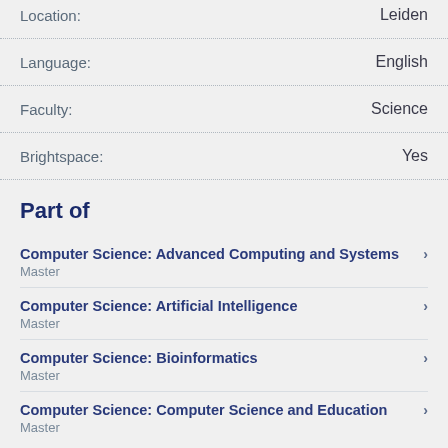| Field | Value |
| --- | --- |
| Location: | Leiden |
| Language: | English |
| Faculty: | Science |
| Brightspace: | Yes |
Part of
Computer Science: Advanced Computing and Systems
Master
Computer Science: Artificial Intelligence
Master
Computer Science: Bioinformatics
Master
Computer Science: Computer Science and Education
Master